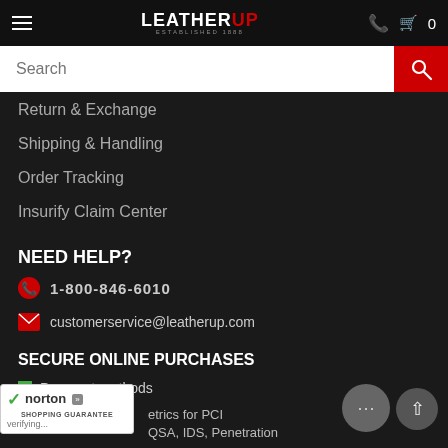LEATHERUP - Established 1888 - Navigation header with search bar
Return & Exchange
Shipping & Handling
Order Tracking
Insurify Claim Center
NEED HELP?
1-800-846-6010
customerservice@leatherup.com
SECURE ONLINE PURCHASES
Payment methods
etrics for PCI QSA, IDS, Penetration
[Figure (logo): Norton Shopping Guarantee badge with checkmark, showing 'verifying...']